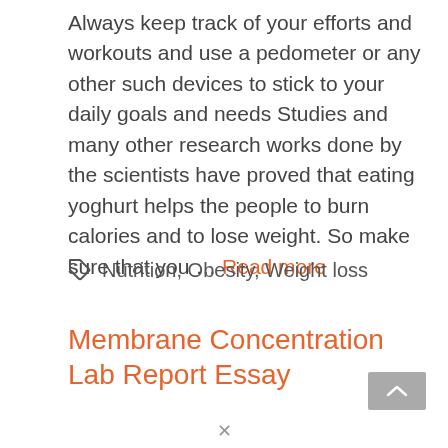Always keep track of your efforts and workouts and use a pedometer or any other such devices to stick to your daily goals and needs Studies and many other research works done by the scientists have proved that eating yoghurt helps the people to burn calories and to lose weight. So make sure that you … Read more
🏷 Nutrition, Obesity, Weight loss
Membrane Concentration Lab Report Essay